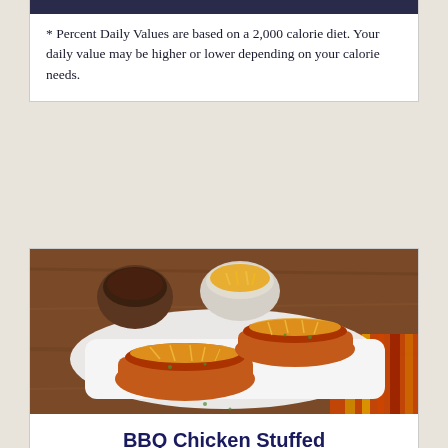* Percent Daily Values are based on a 2,000 calorie diet. Your daily value may be higher or lower depending on your calorie needs.
[Figure (photo): Photo of BBQ Chicken Stuffed items on a white rectangular serving plate on a wooden table, topped with shredded cheddar cheese. Two small bowls with BBQ sauce and shredded cheese are in the background. A striped cloth napkin is visible on the right side.]
BBQ Chicken Stuffed